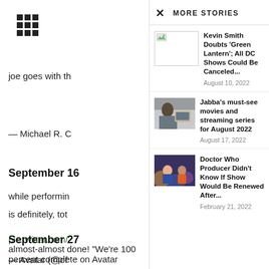[Figure (other): Grid/apps icon (3x3 squares)]
joe goes with th
— Michael R. C
September 1
while performin
is definitely, tot
pic.twitter.com/
— Avatar (@of
September 2
almost-almost done! “We’re 100 percent complete on Avatar
MORE STORIES
Kevin Smith Doubts ‘Green Lantern’; All DC Shows Could Be Canceled...
August 10, 2022
[Figure (photo): Person sitting on couch using laptop]
Jabba’s must-see movies and streaming series for August 2022
August 17, 2022
[Figure (photo): Two women smiling at event with colorful background]
Doctor Who Producer Didn’t Know If Show Would Be Renewed After...
February 21, 2022